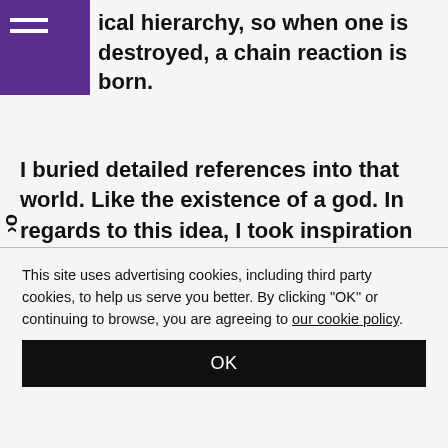ical hierarchy, so when one is destroyed, a chain reaction is born.
I buried detailed references into that world. Like the existence of a god. In regards to this idea, I took inspiration from the actual song, “Slow,” (the lyrics are explained as: “The story’s about a young revolutionary, dreaming of a better world and burning with idealism, getting assassinated at a national stadium after a coup d’état”).
This site uses advertising cookies, including third party cookies, to help us serve you better. By clicking "OK" or continuing to browse, you are agreeing to our cookie policy.
OK